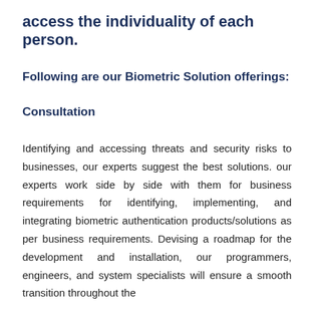access the individuality of each person.
Following are our Biometric Solution offerings:
Consultation
Identifying and accessing threats and security risks to businesses, our experts suggest the best solutions. our experts work side by side with them for business requirements for identifying, implementing, and integrating biometric authentication products/solutions as per business requirements. Devising a roadmap for the development and installation, our programmers, engineers, and system specialists will ensure a smooth transition throughout the